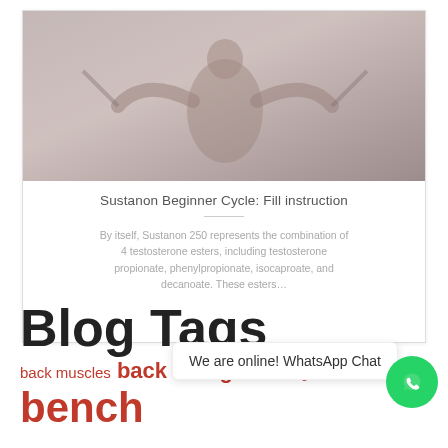[Figure (photo): Fitness/bodybuilding image showing a shirtless male athlete using gym equipment]
Sustanon Beginner Cycle: Fill instruction
By itself, Sustanon 250 represents the combination of 4 testosterone esters, including testosterone propionate, phenylpropionate, isocaproate, and decanoate. These esters…
Blog Tags
back muscles  back straight  back thigh  bench
We are online! WhatsApp Chat